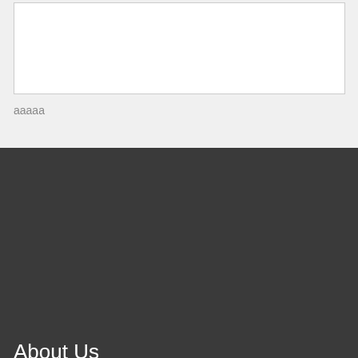aaaaa
About Us
Edumodo is perfectly suitable for school, college and university website with online education system.
+1 23-4567-8920
mail@yourdomain.com
Find us on Map